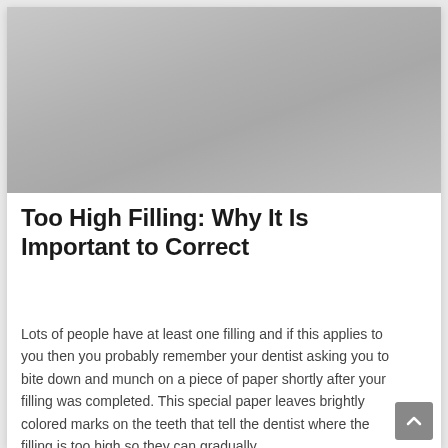[Figure (photo): Grayscale/gray gradient image area at the top of the page, likely a dental or medical photograph]
Too High Filling: Why It Is Important to Correct
Lots of people have at least one filling and if this applies to you then you probably remember your dentist asking you to bite down and munch on a piece of paper shortly after your filling was completed. This special paper leaves brightly colored marks on the teeth that tell the dentist where the filling is too high so they can gradually